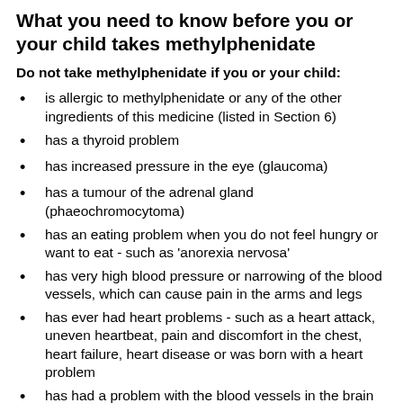What you need to know before you or your child takes methylphenidate
Do not take methylphenidate if you or your child:
is allergic to methylphenidate or any of the other ingredients of this medicine (listed in Section 6)
has a thyroid problem
has increased pressure in the eye (glaucoma)
has a tumour of the adrenal gland (phaeochromocytoma)
has an eating problem when you do not feel hungry or want to eat - such as 'anorexia nervosa'
has very high blood pressure or narrowing of the blood vessels, which can cause pain in the arms and legs
has ever had heart problems - such as a heart attack, uneven heartbeat, pain and discomfort in the chest, heart failure, heart disease or was born with a heart problem
has had a problem with the blood vessels in the brain